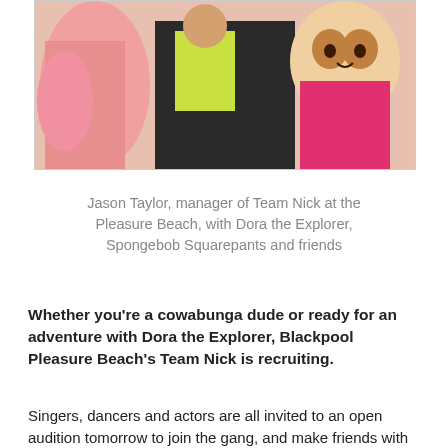[Figure (photo): Photo of Jason Taylor, manager of Team Nick at the Pleasure Beach, posing with Dora the Explorer, Spongebob Squarepants and other character mascots]
Jason Taylor, manager of Team Nick at the Pleasure Beach, with Dora the Explorer, Spongebob Squarepants and friends
Whether you're a cowabunga dude or ready for an adventure with Dora the Explorer, Blackpool Pleasure Beach's Team Nick is recruiting.
Singers, dancers and actors are all invited to an open audition tomorrow to join the gang, and make friends with the likes of Spongebob Squarepants, the Teenage Mutant Ninja Turtles and Wallace and Gromit.
The Pleasure Beach, earlier this month named